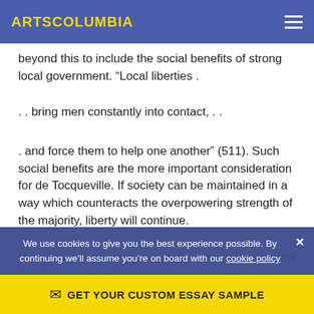ARTSCOLUMBIA
beyond this to include the social benefits of strong local government. “Local liberties .
. . bring men constantly into contact, . .
. and force them to help one another” (511). Such social benefits are the more important consideration for de Tocqueville. If society can be maintained in a way which counteracts the overpowering strength of the majority, liberty will continue.
Unlike Smith, however, de Tocqueville does not think that this argument for strong local government leads to the conclusion that federal government should be extremely limited. In fact, de Tocqueville expects the
We use cookies to give you the best experience possible. By continuing we’ll assume you’re on board with our cookie policy
GET YOUR CUSTOM ESSAY SAMPLE